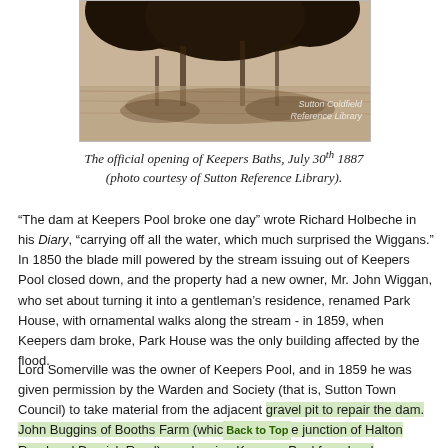[Figure (photo): Sepia-toned historical photograph of Keepers Baths opening, with trees reflected in water. Watermark reads 'Sutton Coldfield Reference Library'.]
The official opening of Keepers Baths, July 30th 1887 (photo courtesy of Sutton Reference Library).
“The dam at Keepers Pool broke one day” wrote Richard Holbeche in his Diary, “carrying off all the water, which much surprised the Wiggans.” In 1850 the blade mill powered by the stream issuing out of Keepers Pool closed down, and the property had a new owner, Mr. John Wiggan, who set about turning it into a gentleman’s residence, renamed Park House, with ornamental walks along the stream - in 1859, when Keepers dam broke, Park House was the only building affected by the flood.
Lord Somerville was the owner of Keepers Pool, and in 1859 he was given permission by the Warden and Society (that is, Sutton Town Council) to take material from the adjacent gravel pit to repair the dam. John Buggins of Booths Farm (which is at the junction of Halton Road and Darnick Road) was leasing Keepers Pool from Lord Somerville at the time, and it was he who